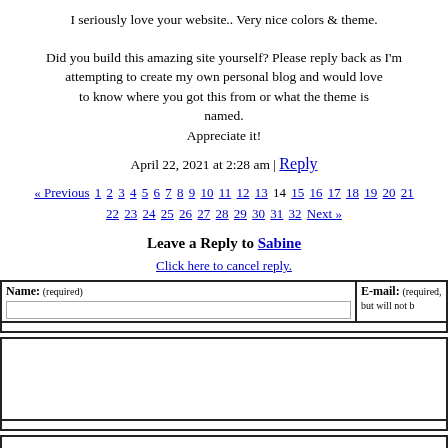I seriously love your website.. Very nice colors & theme.
Did you build this amazing site yourself? Please reply back as I'm attempting to create my own personal blog and would love to know where you got this from or what the theme is named. Appreciate it!
April 22, 2021 at 2:28 am | Reply
« Previous 1 2 3 4 5 6 7 8 9 10 11 12 13 14 15 16 17 18 19 20 21 22 23 24 25 26 27 28 29 30 31 32 Next »
Leave a Reply to Sabine
Click here to cancel reply.
| Name: (required) | E-mail: (required, but will not be published) |
| --- | --- |
|  |  |